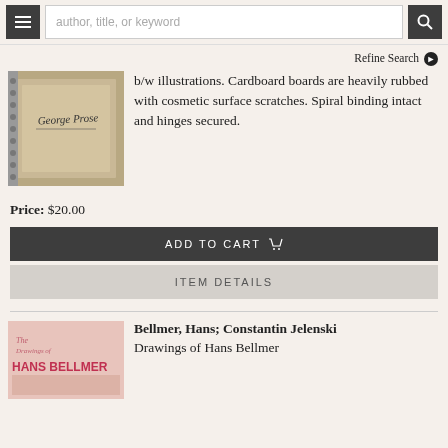author, title, or keyword [search bar with menu and search buttons]
Refine Search ▶
b/w illustrations. Cardboard boards are heavily rubbed with cosmetic surface scratches. Spiral binding intact and hinges secured.
Price: $20.00
ADD TO CART
ITEM DETAILS
Bellmer, Hans; Constantin Jelenski
Drawings of Hans Bellmer